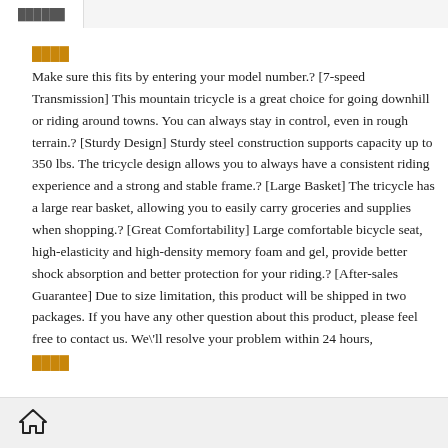██████
████
Make sure this fits by entering your model number.? [7-speed Transmission] This mountain tricycle is a great choice for going downhill or riding around towns. You can always stay in control, even in rough terrain.? [Sturdy Design] Sturdy steel construction supports capacity up to 350 lbs. The tricycle design allows you to always have a consistent riding experience and a strong and stable frame.? [Large Basket] The tricycle has a large rear basket, allowing you to easily carry groceries and supplies when shopping.? [Great Comfortability] Large comfortable bicycle seat, high-elasticity and high-density memory foam and gel, provide better shock absorption and better protection for your riding.? [After-sales Guarantee] Due to size limitation, this product will be shipped in two packages. If you have any other question about this product, please feel free to contact us. We\'ll resolve your problem within 24 hours,
████
home